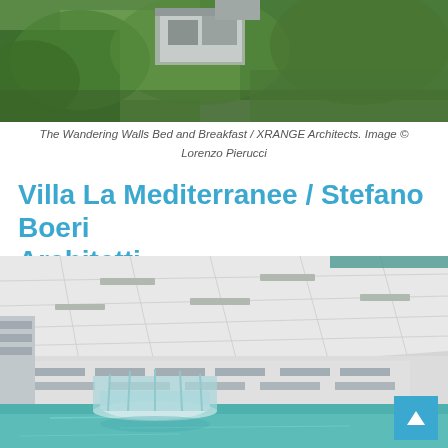[Figure (photo): Aerial view of The Wandering Walls Bed and Breakfast by XRANGE Architects, showing modern angular structures among green trees]
The Wandering Walls Bed and Breakfast / XRANGE Architects. Image © Lorenzo Pierucci
Villa La Mediterranee / Stefano Boeri Architetti
[Figure (photo): Interior/exterior view of Villa La Mediterranee showing white tiled ceiling canopy, glass cylindrical structure, and reflective water pool below]